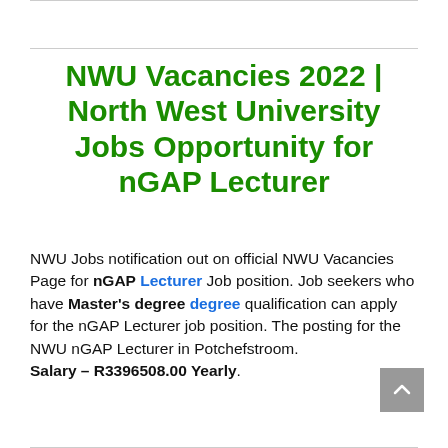NWU Vacancies 2022 | North West University Jobs Opportunity for nGAP Lecturer
NWU Jobs notification out on official NWU Vacancies Page for nGAP Lecturer Job position. Job seekers who have Master's degree qualification can apply for the nGAP Lecturer job position. The posting for the NWU nGAP Lecturer in Potchefstroom. Salary – R3396508.00 Yearly.